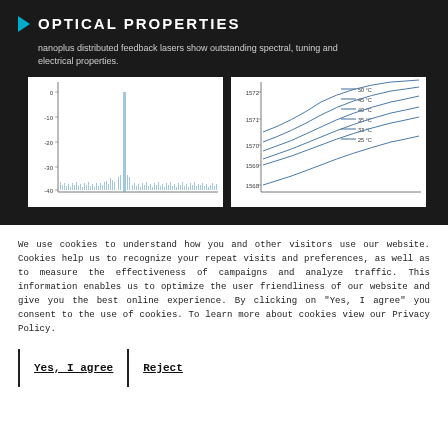OPTICAL PROPERTIES
nanoplus distributed feedback lasers show outstanding spectral, tuning and electrical properties.
[Figure (continuous-plot): Intensity (dB) vs wavelength spectrum plot showing a sharp single-mode laser peak near 0 dB with sidemode suppression around -40 dB, typical DFB laser spectrum]
[Figure (line-chart): Wavelength (nm) vs current tuning curves at multiple temperatures (25°C, 33°C, 35°C, 40°C, 45°C, 50°C) ranging from approximately 1568 to 1572 nm]
We use cookies to understand how you and other visitors use our website. Cookies help us to recognize your repeat visits and preferences, as well as to measure the effectiveness of campaigns and analyze traffic. This information enables us to optimize the user friendliness of our website and give you the best online experience. By clicking on "Yes, I agree" you consent to the use of cookies. To learn more about cookies view our Privacy Policy.
Yes, I agree    Reject